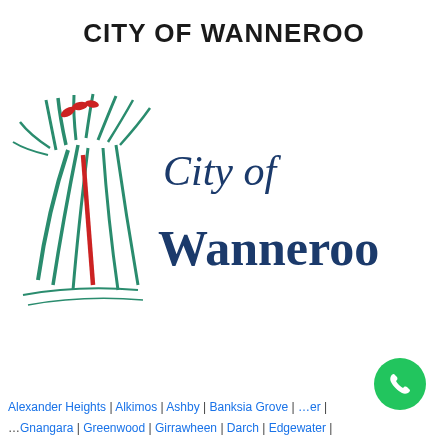CITY OF WANNEROO
[Figure (logo): City of Wanneroo logo with stylized grass/plant illustration in teal and red on the left, and 'City of Wanneroo' text in dark navy blue serif font on the right]
Alexander Heights | Alkimos | Ashby | Banksia Grove | ... | Gnangara | Greenwood | Girrawheen | Darch | Edgewater |